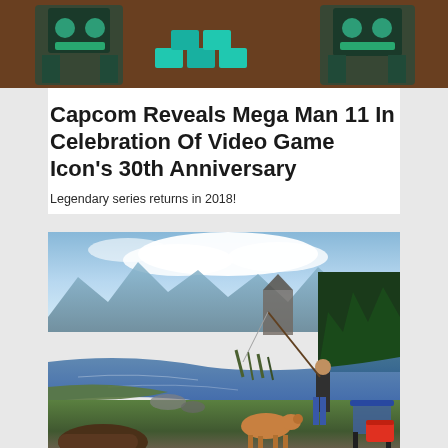[Figure (screenshot): Top banner image showing Mega Man themed characters/robots with teal/cyan colored geometric designs against a dark background]
Capcom Reveals Mega Man 11 In Celebration Of Video Game Icon's 30th Anniversary
Legendary series returns in 2018!
[Figure (screenshot): Video game screenshot showing a person fishing on a riverbank with a golden dog beside them, set in a scenic outdoor environment with mountains, trees, and a river — likely from Far Cry 5]